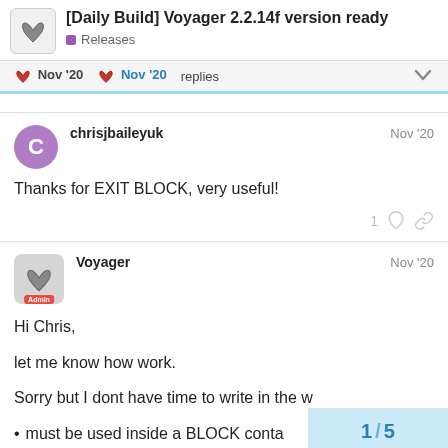[Daily Build] Voyager 2.2.14f version ready | Releases
Nov '20  Nov '20  replies
chrisjbaileyuk  Nov '20
Thanks for EXIT BLOCK, very useful!
Voyager  Nov '20
Hi Chris,

let me know how work.

Sorry but I dont have time to write in the w

• must be used inside a BLOCK conta
1 / 5